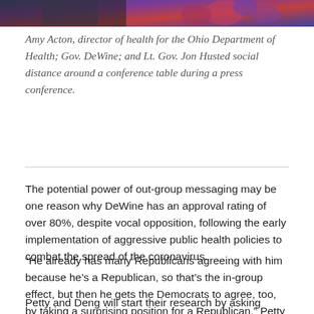[Figure (photo): Top strip of a photograph showing people at a conference table with colorful decorative elements in the background.]
Amy Acton, director of health for the Ohio Department of Health; Gov. DeWine; and Lt. Gov. Jon Husted social distance around a conference table during a press conference.
The potential power of out-group messaging may be one reason why DeWine has an approval rating of over 80%, despite vocal opposition, following the early implementation of aggressive public health policies to combat the spread of the coronavirus.
“He already has many Republicans agreeing with him because he’s a Republican, so that’s the in-group effect, but then he gets the Democrats to agree, too, by taking a surprising position for a Republican,” Petty said.
Petty and Deng will start their research by asking online